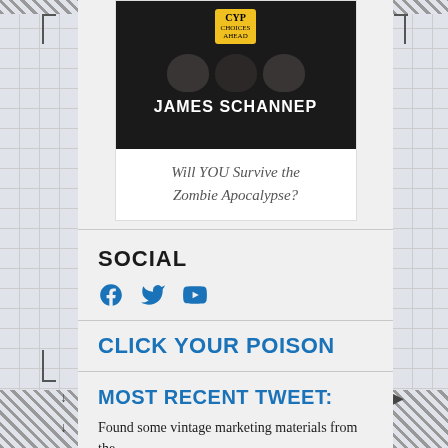[Figure (illustration): Book cover for 'Click Your Poison' by James Schannep showing zombie faces on black background with a yellow warning sign badge. Below the cover image is the caption 'Will YOU Survive the Zombie Apocalypse?']
SOCIAL
[Figure (infographic): Social media icons: Facebook, Twitter, YouTube in blue]
CLICK YOUR POISON
MOST RECENT TWEET:
Found some vintage marketing materials from the